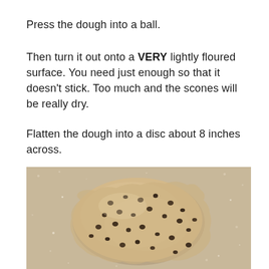Press the dough into a ball.
Then turn it out onto a VERY lightly floured surface. You need just enough so that it doesn't stick. Too much and the scones will be really dry.
Flatten the dough into a disc about 8 inches across.
[Figure (photo): A round disc of scone dough with dark fruit (currants/raisins) on a lightly floured surface, viewed from above.]